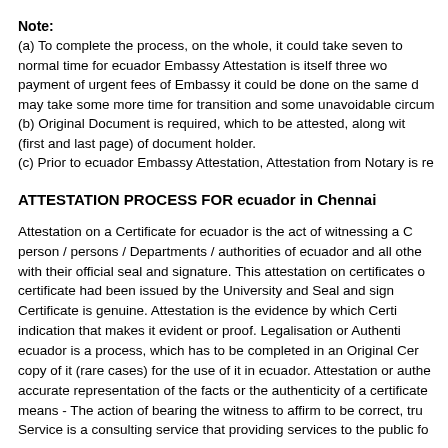Note:
(a) To complete the process, on the whole, it could take seven to normal time for ecuador Embassy Attestation is itself three wo payment of urgent fees of Embassy it could be done on the same d may take some more time for transition and some unavoidable circum (b) Original Document is required, which to be attested, along wit (first and last page) of document holder. (c) Prior to ecuador Embassy Attestation, Attestation from Notary is re
ATTESTATION PROCESS FOR ecuador in Chennai
Attestation on a Certificate for ecuador is the act of witnessing a person / persons / Departments / authorities of ecuador and all othe with their official seal and signature. This attestation on certificates certificate had been issued by the University and Seal and sign Certificate is genuine. Attestation is the evidence by which Certi indication that makes it evident or proof. Legalisation or Authenti ecuador is a process, which has to be completed in an Original Cer copy of it (rare cases) for the use of it in ecuador. Attestation or auth accurate representation of the facts or the authenticity of a certificate means - The action of bearing the witness to affirm to be correct, tru Service is a consulting service that providing services to the public f